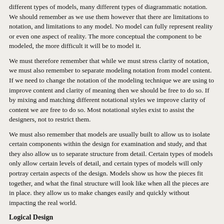different types of models, many different types of diagrammatic notation. We should remember as we use them however that there are limitations to notation, and limitations to any model. No model can fully represent reality or even one aspect of reality. The more conceptual the component to be modeled, the more difficult it will be to model it.
We must therefore remember that while we must stress clarity of notation, we must also remember to separate modeling notation from model content. If we need to change the notation of the modeling technique we are using to improve content and clarity of meaning then we should be free to do so. If by mixing and matching different notational styles we improve clarity of content we are free to do so. Most notational styles exist to assist the designers, not to restrict them.
We must also remember that models are usually built to allow us to isolate certain components within the design for examination and study, and that they also allow us to separate structure from detail. Certain types of models only allow certain levels of detail, and certain types of models will only portray certain aspects of the design. Models show us how the pieces fit together, and what the final structure will look like when all the pieces are in place. they allow us to make changes easily and quickly without impacting the real world.
Logical Design
One last system design concept before we move on to other topics. One term which is used very frequently, and very inconsistently is the term "logical." We have logical data models, logical systems, logical designs, logical this and logical that. Logical has become one of those overused terms which have lost their meaning through inconsistent usage.